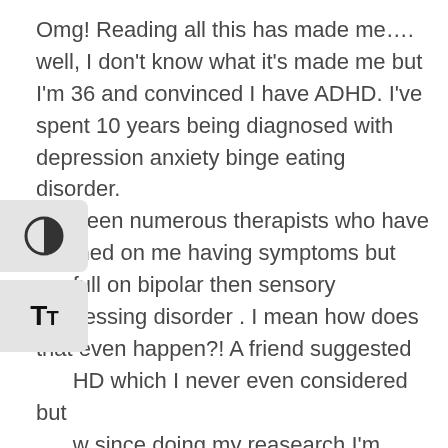Omg! Reading all this has made me…. well, I don't know what it's made me but I'm 36 and convinced I have ADHD. I've spent 10 years being diagnosed with depression anxiety binge eating disorder. I've seen numerous therapists who have touched on me having symptoms but full on bipolar then sensory cessing disorder . I mean how does that even happen?! A friend suggested HD which I never even considered but now since doing my reasearch I'm convinced. Everything makes sense I score high on online tests and suddenly I realised I finally know who I am. However, a psychiatrist who had to refrain from laughing at me, told behind